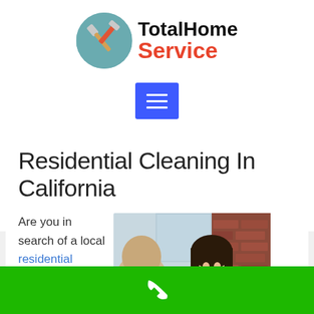[Figure (logo): TotalHome Service logo with circular icon showing hammer and screwdriver tools on teal/grey background, alongside bold text 'TotalHome' in black and 'Service' in red]
[Figure (screenshot): Blue hamburger menu button with three white horizontal lines]
Residential Cleaning In California
Are you in search of a local residential
[Figure (photo): Woman with long dark hair smiling across a table at a blonde woman, brick wall and window in background]
[Figure (other): Green footer bar with white phone/call icon]